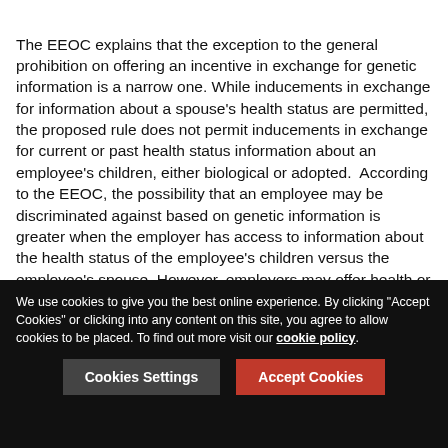The EEOC explains that the exception to the general prohibition on offering an incentive in exchange for genetic information is a narrow one. While inducements in exchange for information about a spouse's health status are permitted, the proposed rule does not permit inducements in exchange for current or past health status information about an employee's children, either biological or adopted. According to the EEOC, the possibility that an employee may be discriminated against based on genetic information is greater when the employer has access to information about the health status of the employee's children versus the employee's spouse. However, employers may offer health or genetic services, including participation in a wellness program, to an employee's children on a voluntary basis and may ask questions about a child's current or past health status as part of providing such services.
We use cookies to give you the best online experience. By clicking "Accept Cookies" or clicking into any content on this site, you agree to allow cookies to be placed. To find out more visit our cookie policy.